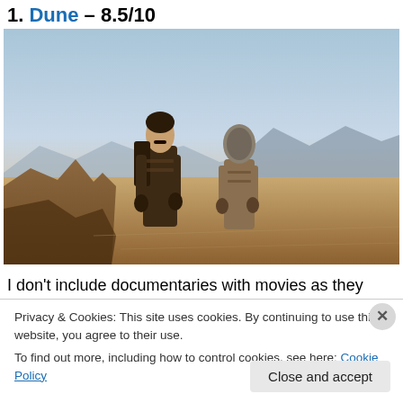1. Dune – 8.5/10
[Figure (photo): Two people in desert survival suits standing in an arid rocky desert landscape with mountains in the background, at dusk or dawn. From the movie Dune.]
I don't include documentaries with movies as they aren't
Privacy & Cookies: This site uses cookies. By continuing to use this website, you agree to their use.
To find out more, including how to control cookies, see here: Cookie Policy